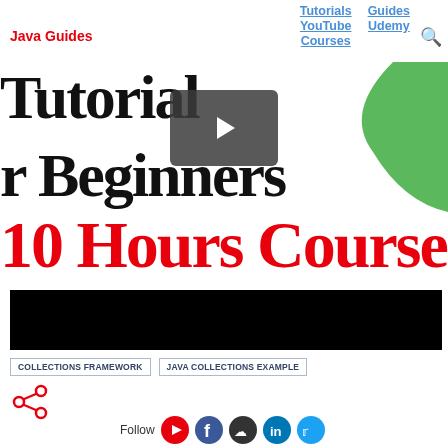Java Guides
Tutorials   Guides   YouTube   Udemy   Courses
[Figure (screenshot): Partial screenshot of a Java Tutorial for Beginners thumbnail with a YouTube play button overlay and green logo on the right]
10 Hours Course
[Figure (screenshot): Black video embed thumbnail bar]
COLLECTIONS FRAMEWORK   JAVA COLLECTIONS EXAMPLE
[Figure (illustration): Share icon (social share symbol)]
Follow
[Figure (illustration): Social media follow icons: YouTube, Facebook, GitHub, LinkedIn, Twitter]